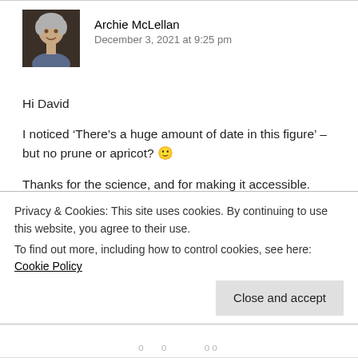[Figure (photo): Avatar photo of Archie McLellan, an older man with gray hair, smiling, dark background]
Archie McLellan
December 3, 2021 at 9:25 pm
Hi David
I noticed ‘There’s a huge amount of date in this figure’ – but no prune or apricot? 🙂
Thanks for the science, and for making it accessible.
‘Facultatively’ has made a long journey to mean ‘some of the
Privacy & Cookies: This site uses cookies. By continuing to use this website, you agree to their use.
To find out more, including how to control cookies, see here: Cookie Policy
Close and accept